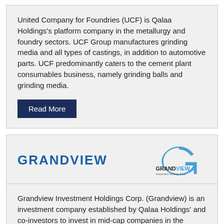United Company for Foundries (UCF) is Qalaa Holdings's platform company in the metallurgy and foundry sectors. UCF Group manufactures grinding media and all types of castings, in addition to automotive parts. UCF predominantly caters to the cement plant consumables business, namely grinding balls and grinding media.
Read More
GRANDVIEW
[Figure (logo): Grandview Investment Holdings Corp logo with a blue G arc above the text GRANDVIEW in black with blue letters, and Investment Holdings Corp in small text below]
Grandview Investment Holdings Corp. (Grandview) is an investment company established by Qalaa Holdings' and co-investors to invest in mid-cap companies in the Middle East and North Africa region with a focus on Egypt. It has invested in key industries including printing and packaging,